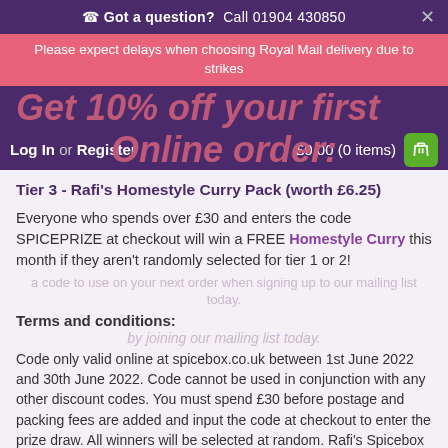☎ Got a question? Call 01904 430850
Please expect delays when choosing Royal Mail delivery due to strikes
Get 10% off your first
Log In or Register   £0.00 (0 items)
Online order:
Tier 3 - Rafi's Homestyle Curry Pack (worth £6.25)
Everyone who spends over £30 and enters the code SPICEPRIZE at checkout will win a FREE Homestyle Curry this month if they aren't randomly selected for tier 1 or 2!
a code to use on your next order when signing up to our mailing list today.
Terms and conditions:
by joining our mailing list today.
Code only valid online at spicebox.co.uk between 1st June 2022 and 30th June 2022. Code cannot be used in conjunction with any other discount codes. You must spend £30 before postage and packing fees are added and input the code at checkout to enter the prize draw. All winners will be selected at random. Rafi's Spicebox reserves the right to